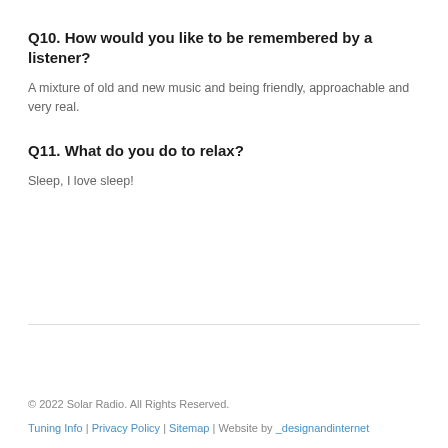Q10. How would you like to be remembered by a listener?
A mixture of old and new music and being friendly, approachable and very real.
Q11. What do you do to relax?
Sleep, I love sleep!
© 2022 Solar Radio. All Rights Reserved.
Tuning Info | Privacy Policy | Sitemap | Website by _designandinternet